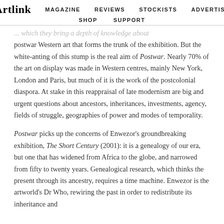Artlink  MAGAZINE  REVIEWS  STOCKISTS  ADVERTISE  SHOP  SUPPORT
... which they bring a depth of knowledge about postwar Western art that forms the trunk of the exhibition. But the white-anting of this stump is the real aim of Postwar. Nearly 70% of the art on display was made in Western centres, mainly New York, London and Paris, but much of it is the work of the postcolonial diaspora. At stake in this reappraisal of late modernism are big and urgent questions about ancestors, inheritances, investments, agency, fields of struggle, geographies of power and modes of temporality.
Postwar picks up the concerns of Enwezor's groundbreaking exhibition, The Short Century (2001): it is a genealogy of our era, but one that has widened from Africa to the globe, and narrowed from fifty to twenty years. Genealogical research, which thinks the present through its ancestry, requires a time machine. Enwezor is the artworld's Dr Who, rewiring the past in order to redistribute its inheritance and